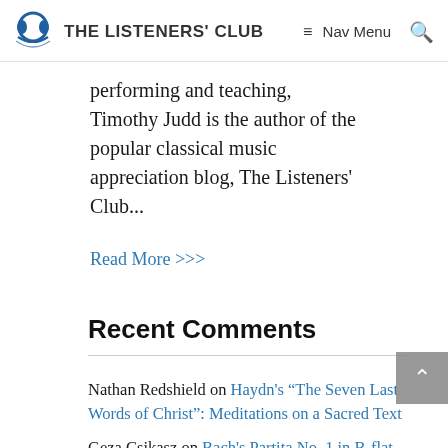THE LISTENERS' CLUB | Nav Menu
performing and teaching, Timothy Judd is the author of the popular classical music appreciation blog, The Listeners' Club...
Read More >>>
Recent Comments
Nathan Redshield on Haydn's "The Seven Last Words of Christ": Meditations on a Sacred Text
Geza Csikasz on Bach's Partita No. 1 in B-flat